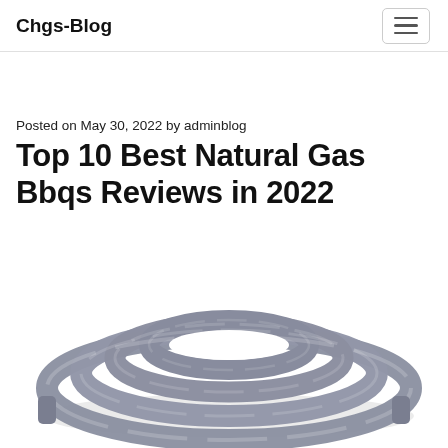Chgs-Blog
Posted on May 30, 2022 by adminblog
Top 10 Best Natural Gas Bbqs Reviews in 2022
[Figure (photo): A coiled gray natural gas hose/tube photographed on a white background]